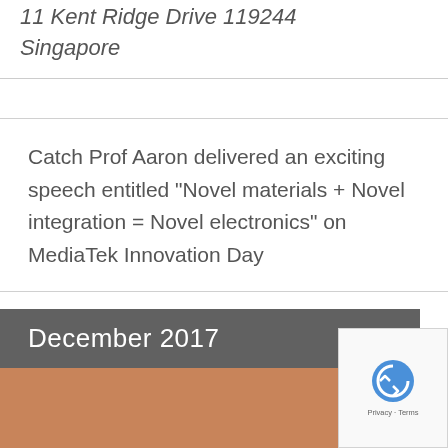11 Kent Ridge Drive 119244
Singapore
Catch Prof Aaron delivered an exciting speech entitled "Novel materials + Novel integration = Novel electronics" on MediaTek Innovation Day
Find out more ›
December 2017